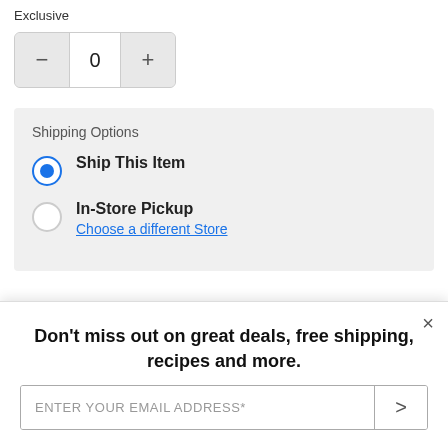Exclusive
[Figure (screenshot): Quantity stepper with minus button, value 0, and plus button]
Shipping Options
Ship This Item (selected radio button)
In-Store Pickup
Choose a different Store
25 people recently added this to their cart
Don't miss out on great deals, free shipping, recipes and more.
ENTER YOUR EMAIL ADDRESS*